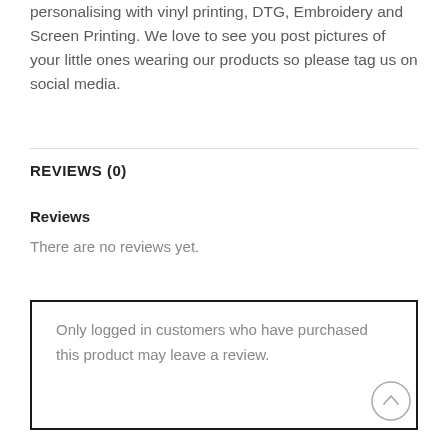personalising with vinyl printing, DTG, Embroidery and Screen Printing. We love to see you post pictures of your little ones wearing our products so please tag us on social media.
REVIEWS (0)
Reviews
There are no reviews yet.
Only logged in customers who have purchased this product may leave a review.